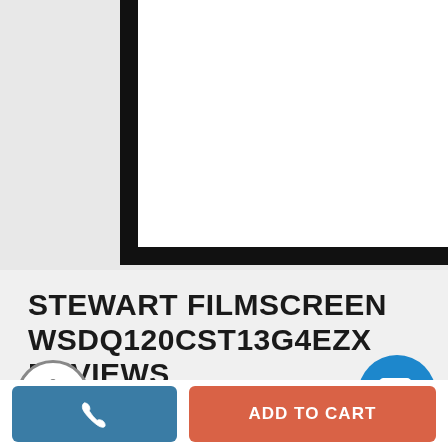[Figure (photo): Product image area showing a projection screen with thick black frame border visible on the left and bottom edges against a white/light gray background.]
STEWART FILMSCREEN WSDQ120CST13G4EZX REVIEWS
ADD TO CART